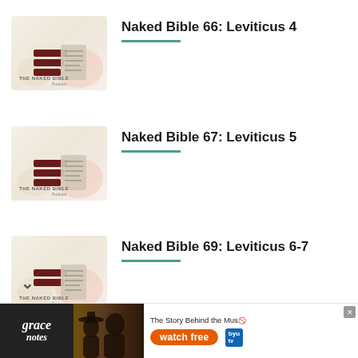[Figure (logo): The Naked Bible Podcast logo thumbnail - maroon book/wing icon on cream background]
Naked Bible 66: Leviticus 4
[Figure (logo): The Naked Bible Podcast logo thumbnail - maroon book/wing icon on cream background]
Naked Bible 67: Leviticus 5
[Figure (logo): The Naked Bible Podcast logo thumbnail - maroon book/wing icon on cream background]
Naked Bible 69: Leviticus 6-7
[Figure (advertisement): Grace Notes - The Story Behind the Music, watch free, BYU tv advertisement banner]